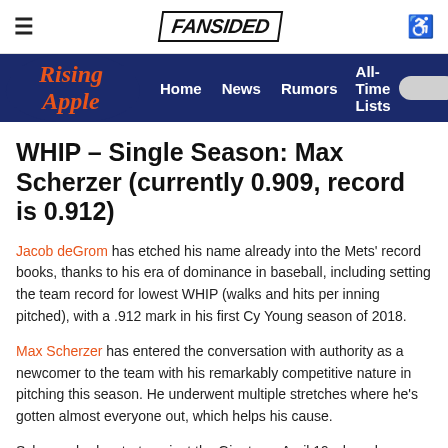≡  FANSIDED  ♿
Rising Apple  Home  News  Rumors  All-Time Lists
WHIP – Single Season: Max Scherzer (currently 0.909, record is 0.912)
Jacob deGrom has etched his name already into the Mets' record books, thanks to his era of dominance in baseball, including setting the team record for lowest WHIP (walks and hits per inning pitched), with a .912 mark in his first Cy Young season of 2018.
Max Scherzer has entered the conversation with authority as a newcomer to the team with his remarkably competitive nature in pitching this season. He underwent multiple stretches where he's gotten almost everyone out, which helps his cause.
Scherzer had a start against the Giants on April 19 where he